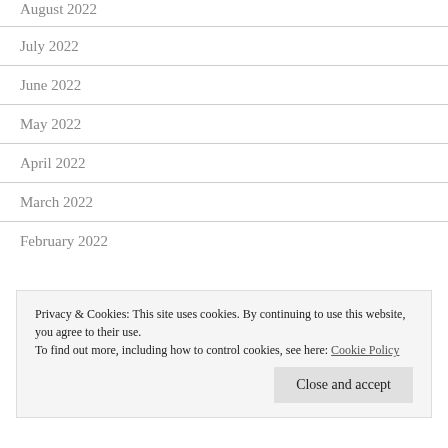August 2022
July 2022
June 2022
May 2022
April 2022
March 2022
February 2022
Privacy & Cookies: This site uses cookies. By continuing to use this website, you agree to their use. To find out more, including how to control cookies, see here: Cookie Policy
Close and accept